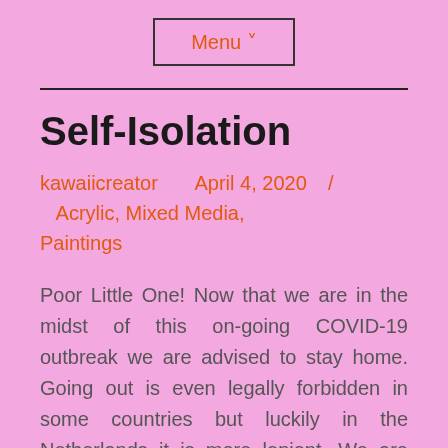Menu ˅
Self-Isolation
kawaiicreator   April 4, 2020  /  Acrylic, Mixed Media, Paintings
Poor Little One! Now that we are in the midst of this on-going COVID-19 outbreak we are advised to stay home. Going out is even legally forbidden in some countries but luckily in the Netherlands it is more lenient. We are just strongly advised to stay home, and with all restaurants, bars, cafes and even beauty salons shut, less the reason to want to venture out. Little One, for one, is one of the